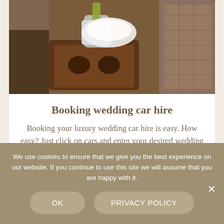[Figure (photo): Interior of a luxury car showing a wooden tray table with a champagne bottle in an ice bucket, white cloth, and plush leather seating]
Booking wedding car hire
Booking your luxury wedding car hire is easy. How easy? Just click on cars and enter your desired wedding car hire date
We use cookies to ensure that we give you the best experience on our website. If you continue to use this site we will assume that you are happy with it.
OK
PRIVACY POLICY